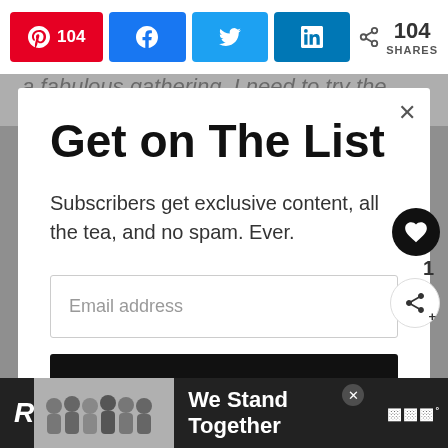104 [Pinterest] [Facebook share] [Twitter] [LinkedIn] < 104 SHARES
a fabulous gathering. I need to try the Sparkling
Get on The List
Subscribers get exclusive content, all the tea, and no spam. Ever.
Email address
Subscribe
[Figure (screenshot): Ad banner at bottom: group of people with text 'We Stand Together', with a close button and logo]
We Stand Together